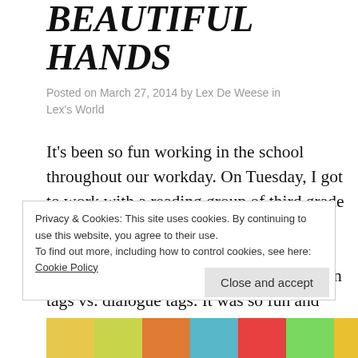BEAUTIFUL HANDS
Posted on March 27, 2014 by Lex De Weese in Lex's World
It’s been so fun working in the school throughout our workday. On Tuesday, I got to work with a reading group of third grade boys. So much fun! Yesterday, I taught a writing lesson for the fifth and sixth grade kids. We learned about dialogue and action tags vs. dialogue tags. It was so fun and their energies contagious. Their excitement for
Privacy & Cookies: This site uses cookies. By continuing to use this website, you agree to their use.
To find out more, including how to control cookies, see here: Cookie Policy
Close and accept
[Figure (photo): Colorful photo strip at bottom of page showing school supplies or craft materials]